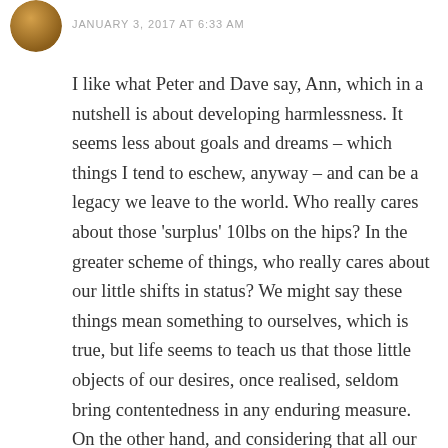[Figure (photo): Circular avatar image showing a round object with brown/golden tones, partially cropped at top-left corner]
JANUARY 3, 2017 AT 6:33 AM
I like what Peter and Dave say, Ann, which in a nutshell is about developing harmlessness. It seems less about goals and dreams – which things I tend to eschew, anyway – and can be a legacy we leave to the world. Who really cares about those 'surplus' 10lbs on the hips? In the greater scheme of things, who really cares about our little shifts in status? We might say these things mean something to ourselves, which is true, but life seems to teach us that those little objects of our desires, once realised, seldom bring contentedness in any enduring measure. On the other hand, and considering that all our actions leave their mark upon time, then if we can leave this world having lived harmlessly